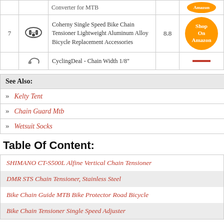| # | Image | Product | Score | Action |
| --- | --- | --- | --- | --- |
| 7 | [image] | Coherny Single Speed Bike Chain Tensioner Lightweight Aluminum Alloy Bicycle Replacement Accessories | 8.8 | Shop On Amazon |
|  | [image] | CyclingDeal - Chain Width 1/8" |  |  |
See Also:
Kelty Tent
Chain Guard Mtb
Wetsuit Socks
Table Of Content:
SHIMANO CT-S500L Alfine Vertical Chain Tensioner
DMR STS Chain Tensioner, Stainless Steel
Bike Chain Guide MTB Bike Protector Road Bicycle
Bike Chain Tensioner Single Speed Adjuster